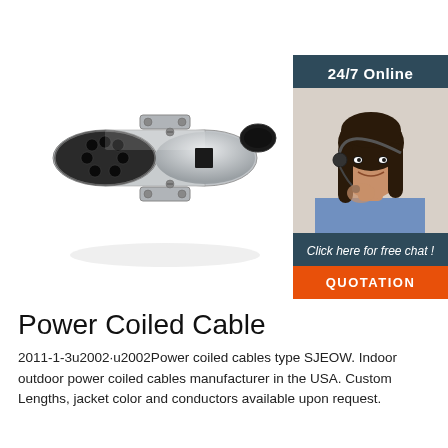[Figure (photo): Silver metal cylindrical electrical connector/plug with 7 black pin holes on the face and mounting brackets, photographed on white background at an angle]
[Figure (photo): Customer service representative woman with headset smiling, shown in a dark teal panel with '24/7 Online' header text and 'Click here for free chat!' and orange QUOTATION button]
Power Coiled Cable
2011-1-3u2002·u2002Power coiled cables type SJEOW. Indoor outdoor power coiled cables manufacturer in the USA. Custom Lengths, jacket color and conductors available upon request.